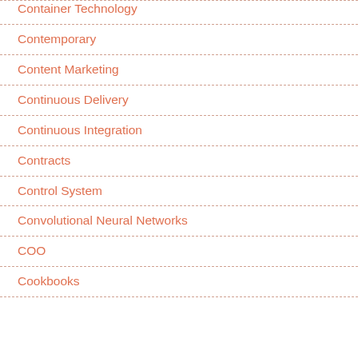Container Technology
Contemporary
Content Marketing
Continuous Delivery
Continuous Integration
Contracts
Control System
Convolutional Neural Networks
COO
Cookbooks